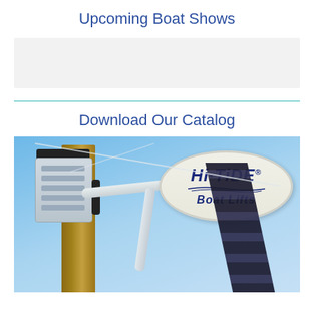Upcoming Boat Shows
[Figure (other): Gray placeholder box below Upcoming Boat Shows heading]
Download Our Catalog
[Figure (photo): Photo of Hi-Tide Boat Lifts equipment showing boat lift motor and arm mechanism with oval Hi-Tide Boat Lifts logo on a blue sky background]